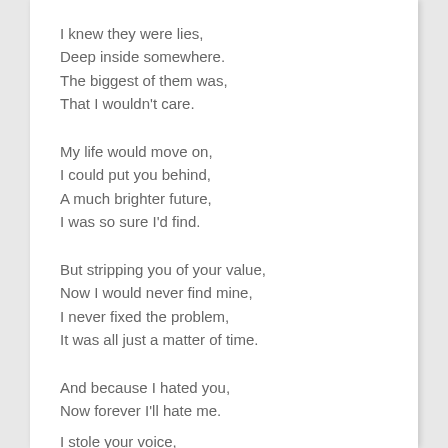I knew they were lies,
Deep inside somewhere.
The biggest of them was,
That I wouldn't care.
My life would move on,
I could put you behind,
A much brighter future,
I was so sure I'd find.
But stripping you of your value,
Now I would never find mine,
I never fixed the problem,
It was all just a matter of time.
And because I hated you,
Now forever I'll hate me.
I stole your voice,